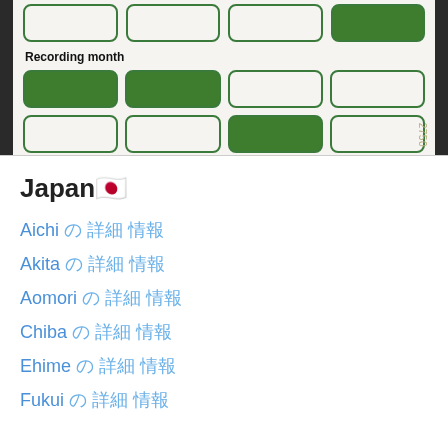[Figure (screenshot): Mobile app screenshot showing a 'Recording month' selector with a grid of toggle buttons, some filled green and some empty, plus a top row with the last button filled green. A watermark '2750' appears rotated on the right side.]
Japan🇯🇵
Aichi 🔗 愛知 県
Akita 🔗 秋田 県
Aomori 🔗 青森 県
Chiba 🔗 千葉 県
Ehime 🔗 愛媛 県
Fukui 🔗 福井 県